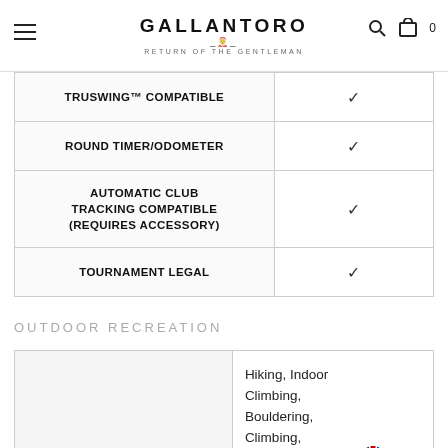GALLANTORO — RETURN OF THE GENTLEMAN
| Feature | Value |
| --- | --- |
| TRUSWING™ COMPATIBLE | ✓ |
| ROUND TIMER/ODOMETER | ✓ |
| AUTOMATIC CLUB TRACKING COMPATIBLE (REQUIRES ACCESSORY) | ✓ |
| TOURNAMENT LEGAL | ✓ |
OUTDOOR RECREATION
|  | Activities |
| --- | --- |
|  | Hiking, Indoor Climbing, Bouldering, Climbing, Mountain Biking, |